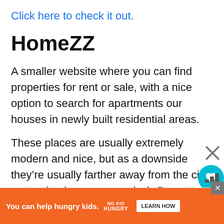Click here to check it out.
HomeZZ
A smaller website where you can find properties for rent or sale, with a nice option to search for apartments our houses in newly built residential areas.
These places are usually extremely modern and nice, but as a downside they're usually farther away from the city center (and more expensive). Pay extra care if you choose one of these, as they mi...
[Figure (other): Advertisement banner: orange background with 'You can help hungry kids.' text, No Kid Hungry logo, and LEARN HOW button. Close button visible. Also shows heart and share UI overlay buttons.]